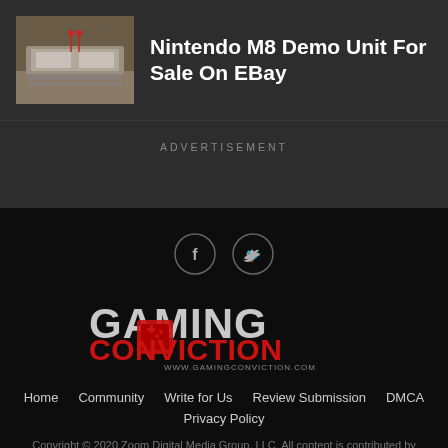[Figure (photo): Thumbnail image of Nintendo M8 Demo Unit hardware on a wooden surface]
Nintendo M8 Demo Unit For Sale On EBay
ADVERTISEMENT
[Figure (illustration): Social media icons: Facebook and Twitter in outlined circles]
[Figure (logo): Gaming Conviction logo with GAMING in grey and CONVICTION in red, www.gamingconviction.com]
Home   Community   Write for Us   Review Submission   DMCA   Privacy Policy
Copyright © 2020 Zoom Digital Media Group, LLC. All content is contributed by our authors on a voluntary basis.